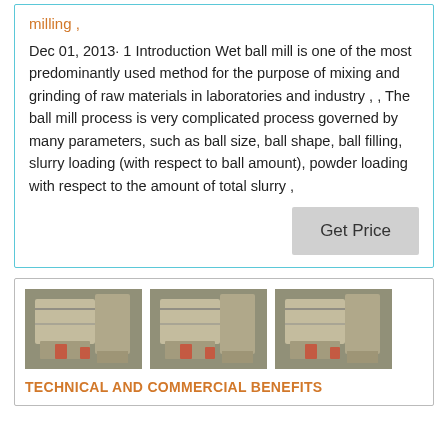milling ,
Dec 01, 2013· 1 Introduction Wet ball mill is one of the most predominantly used method for the purpose of mixing and grinding of raw materials in laboratories and industry , , The ball mill process is very complicated process governed by many parameters, such as ball size, ball shape, ball filling, slurry loading (with respect to ball amount), powder loading with respect to the amount of total slurry ,
Get Price
[Figure (photo): Three photos of industrial ball milling machinery in a factory setting]
TECHNICAL AND COMMERCIAL BENEFITS